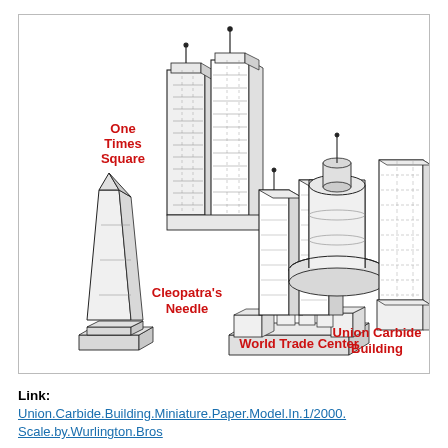[Figure (illustration): Isometric line-art illustration of New York landmarks and buildings at miniature scale: One Times Square (two tall rectangular towers with antenna), Cleopatra's Needle (obelisk on stepped base), World Trade Center (twin towers complex on platform base with surrounding buildings), Little Red Lighthouse (cylindrical lighthouse with circular platform top and antenna), and Union Carbide Building (tall rectangular skyscraper with adjacent lower block). Each structure is labeled in bold red text.]
Link:
Union.Carbide.Building.Miniature.Paper.Model.In.1/2000.Scale.by.Wurlington.Bros